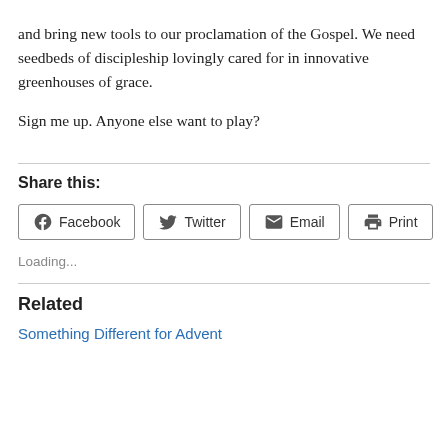and bring new tools to our proclamation of the Gospel. We need seedbeds of discipleship lovingly cared for in innovative greenhouses of grace.

Sign me up. Anyone else want to play?
Share this:
Facebook  Twitter  Email  Print
Loading...
Related
Something Different for Advent